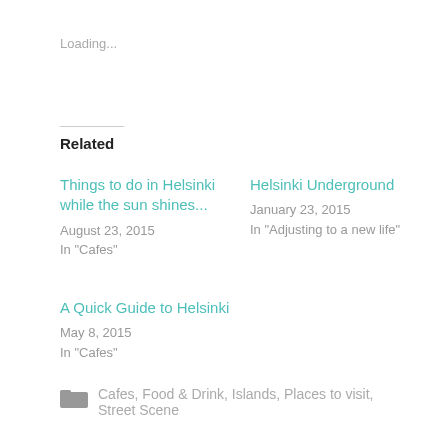Loading...
Related
Things to do in Helsinki while the sun shines...
August 23, 2015
In "Cafes"
Helsinki Underground
January 23, 2015
In "Adjusting to a new life"
A Quick Guide to Helsinki
May 8, 2015
In "Cafes"
Cafes, Food & Drink, Islands, Places to visit, Street Scene